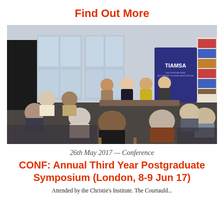Find Out More
[Figure (photo): Conference room scene with panel of speakers at front and audience seated in chairs, TIAMSA banner visible in background, bookshelf on right wall, large windows on left]
26th May 2017 — Conference
CONF: Annual Third Year Postgraduate Symposium (London, 8-9 Jun 17)
Attended by the Christie's Institute. The Courtauld...